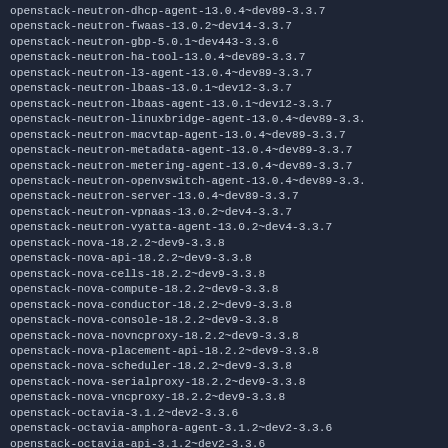openstack-neutron-dhcp-agent-13.0.4~dev89-3.3.7
openstack-neutron-fwaas-13.0.2~dev14-3.3.7
openstack-neutron-gbp-5.0.1~dev443-3.3.6
openstack-neutron-ha-tool-13.0.4~dev89-3.3.7
openstack-neutron-l3-agent-13.0.4~dev89-3.3.7
openstack-neutron-lbaas-13.0.1~dev12-3.3.7
openstack-neutron-lbaas-agent-13.0.1~dev12-3.3.7
openstack-neutron-linuxbridge-agent-13.0.4~dev89-3.3.
openstack-neutron-macvtap-agent-13.0.4~dev89-3.3.7
openstack-neutron-metadata-agent-13.0.4~dev89-3.3.7
openstack-neutron-metering-agent-13.0.4~dev89-3.3.7
openstack-neutron-openvswitch-agent-13.0.4~dev89-3.3.
openstack-neutron-server-13.0.4~dev89-3.3.7
openstack-neutron-vpnaas-13.0.2~dev4-3.3.7
openstack-neutron-vyatta-agent-13.0.2~dev4-3.3.7
openstack-nova-18.2.2~dev9-3.3.8
openstack-nova-api-18.2.2~dev9-3.3.8
openstack-nova-cells-18.2.2~dev9-3.3.8
openstack-nova-compute-18.2.2~dev9-3.3.8
openstack-nova-conductor-18.2.2~dev9-3.3.8
openstack-nova-console-18.2.2~dev9-3.3.8
openstack-nova-novncproxy-18.2.2~dev9-3.3.8
openstack-nova-placement-api-18.2.2~dev9-3.3.8
openstack-nova-scheduler-18.2.2~dev9-3.3.8
openstack-nova-serialproxy-18.2.2~dev9-3.3.8
openstack-nova-vncproxy-18.2.2~dev9-3.3.8
openstack-octavia-3.1.2~dev2-3.3.6
openstack-octavia-amphora-agent-3.1.2~dev2-3.3.6
openstack-octavia-api-3.1.2~dev2-3.3.6
openstack-octavia-health-manager-3.1.2~dev2-3.3.6
openstack-octavia-housekeeping-3.1.2~dev2-3.3.6
openstack-octavia-worker-3.1.2~dev2-3.3.6
python-barbican-tempest-plugin-0.1.0-4.3.1